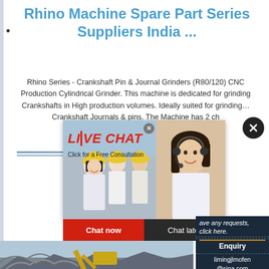Rhino Machine Spare Part Series Suppliers India ...
Rhino Series - Crankshaft Pin & Journal Grinders (R80/120) CNC Production Cylindrical Grinder. This machine is dedicated for grinding Crankshafts in High production volumes. Ideally suited for grinding… Crankshaft Journals & pins. The Machine has 2 ch
[Figure (photo): Live chat popup overlay showing construction workers in yellow hard hats on the left, and a female customer service consultant wearing a headset on the right, with red 'LIVE CHAT' text and 'Click for a Free Consultation' subtitle. Below are 'Chat now' (red) and 'Chat later' (dark) buttons.]
[Figure (photo): Heavy machinery / excavator demolishing structures, rocky debris in foreground, yellow excavator arm visible against sky background.]
ave any requests, click here.
Quotation
Enquiry
limingjlmofen@sina.com